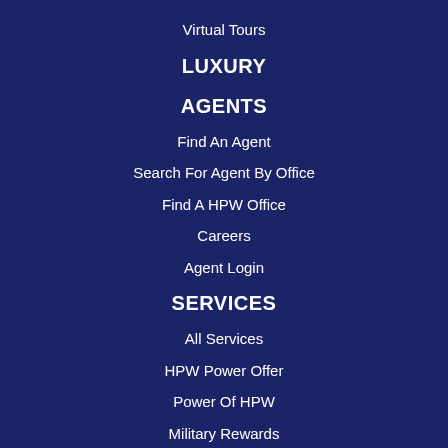Virtual Tours
LUXURY
AGENTS
Find An Agent
Search For Agent By Office
Find A HPW Office
Careers
Agent Login
SERVICES
All Services
HPW Power Offer
Power Of HPW
Military Rewards